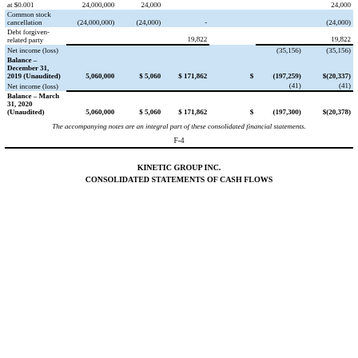|  | Shares | $ | Additional Paid-in Capital | $ | Accumulated Deficit | Total |
| --- | --- | --- | --- | --- | --- | --- |
| at $0.001 | 24,000,000 | 24,000 |  |  |  | 24,000 |
| Common stock cancellation | (24,000,000) | (24,000) | - |  |  | (24,000) |
| Debt forgiven-related party |  |  | 19,822 |  |  | 19,822 |
| Net income (loss) |  |  |  |  | (35,156) | (35,156) |
| Balance – December 31, 2019 (Unaudited) | 5,060,000 | $ 5,060 | $ 171,862 | $ | (197,259) | $(20,337) |
| Net income (loss) |  |  |  |  | (41) | (41) |
| Balance – March 31, 2020 (Unaudited) | 5,060,000 | $ 5,060 | $ 171,862 | $ | (197,300) | $(20,378) |
The accompanying notes are an integral part of these consolidated financial statements.
F-4
KINETIC GROUP INC.
CONSOLIDATED STATEMENTS OF CASH FLOWS